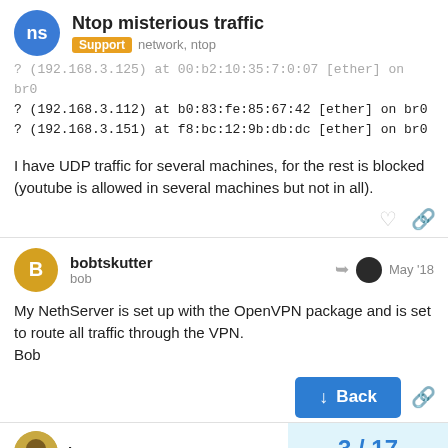Ntop misterious traffic | Support network, ntop
? (192.168.3.125) at 00:b2:10:35:7:0:07 [ether] on br0
? (192.168.3.112) at b0:83:fe:85:67:42 [ether] on br0
? (192.168.3.151) at f8:bc:12:9b:db:dc [ether] on br0
I have UDP traffic for several machines, for the rest is blocked (youtube is allowed in several machines but not in all).
bobtskutter
bob
May '18
My NethServer is set up with the OpenVPN package and is set to route all traffic through the VPN.
Bob
3 / 17
hector